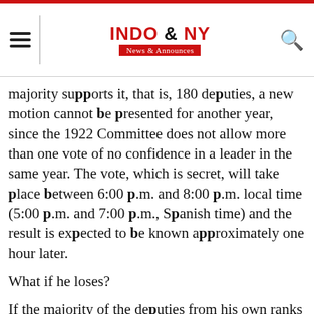INDO & NY News & Announces
majority supports it, that is, 180 deputies, a new motion cannot be presented for another year, since the 1922 Committee does not allow more than one vote of no confidence in a leader in the same year. The vote, which is secret, will take place between 6:00 p.m. and 8:00 p.m. local time (5:00 p.m. and 7:00 p.m., Spanish time) and the result is expected to be known approximately one hour later.
What if he loses?
If the majority of the deputies from his own ranks consider that they have lost confidence in him and his management, for which he needs a simple majority of 180 votes, he will be immediately dismissed as leader of the Party, so the race will